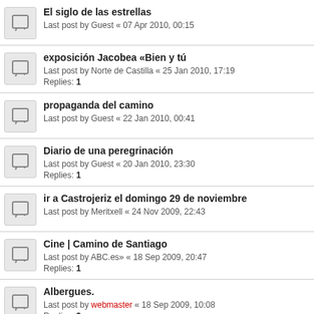El siglo de las estrellas
Last post by Guest « 07 Apr 2010, 00:15
exposición Jacobea «Bien y tú
Last post by Norte de Castilla « 25 Jan 2010, 17:19
Replies: 1
propaganda del camino
Last post by Guest « 22 Jan 2010, 00:41
Diario de una peregrinación
Last post by Guest « 20 Jan 2010, 23:30
Replies: 1
ir a Castrojeriz el domingo 29 de noviembre
Last post by Meritxell « 24 Nov 2009, 22:43
Cine | Camino de Santiago
Last post by ABC.es» « 18 Sep 2009, 20:47
Replies: 1
Albergues.
Last post by webmaster « 18 Sep 2009, 10:08
Replies: 2
LLegar a Castrojeriz desde Burgos .
Last post by zazen55 « 02 Aug 2009, 13:06
BRUCE SPRINGSEEN
Last post by Guest « 01 Aug 2009, 10:52
Replies: 1